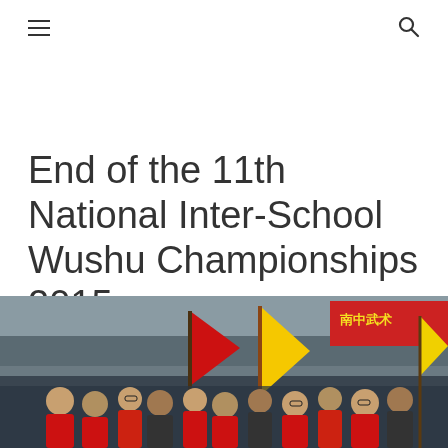☰  🔍
End of the 11th National Inter-School Wushu Championships 2015
April 10, 2015 by
[Figure (photo): Photo from the 11th National Inter-School Wushu Championships 2015, showing participants carrying flags including a prominent red and yellow flag in a large indoor stadium with crowds in the background and a red banner with Chinese characters.]